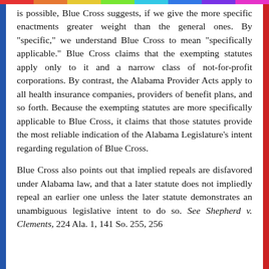is possible, Blue Cross suggests, if we give the more specific enactments greater weight than the general ones. By "specific," we understand Blue Cross to mean "specifically applicable." Blue Cross claims that the exempting statutes apply only to it and a narrow class of not-for-profit corporations. By contrast, the Alabama Provider Acts apply to all health insurance companies, providers of benefit plans, and so forth. Because the exempting statutes are more specifically applicable to Blue Cross, it claims that those statutes provide the most reliable indication of the Alabama Legislature's intent regarding regulation of Blue Cross.
Blue Cross also points out that implied repeals are disfavored under Alabama law, and that a later statute does not impliedly repeal an earlier one unless the later statute demonstrates an unambiguous legislative intent to do so. See Shepherd v. Clements, 224 Ala. 1, 141 So. 255, 256